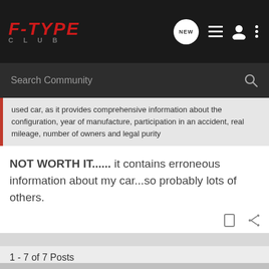F-TYPE CLUB
used car, as it provides comprehensive information about the configuration, year of manufacture, participation in an accident, real mileage, number of owners and legal purity
NOT WORTH IT...... it contains erroneous information about my car...so probably lots of others.
1 - 7 of 7 Posts
This is an older thread, you may not receive a response, and could be reviving an old thread. Please consider creating a new thread.